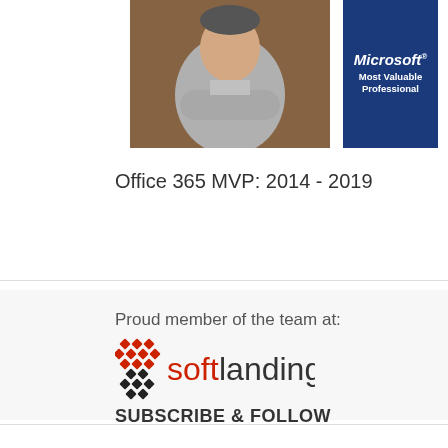[Figure (photo): Person with arms crossed wearing a grey shirt, upper body portrait photo]
[Figure (logo): Microsoft Most Valuable Professional badge, dark blue rectangle with white bold italic text 'Microsoft® Most Valuable Professional']
Office 365 MVP: 2014 - 2019
Proud member of the team at:
[Figure (logo): Softlanding logo with red and black checkered diamond icon and text 'softlanding' in red and black]
SUBSCRIBE & FOLLOW